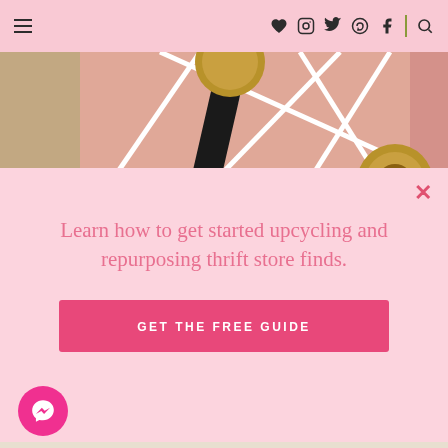Navigation bar with hamburger menu and social icons (heart, instagram, twitter, pinterest, facebook, search)
[Figure (photo): Close-up photo of pink and beige geometric art piece with white lines and dark circular details, partially visible]
Learn how to get started upcycling and repurposing thrift store finds.
GET THE FREE GUIDE